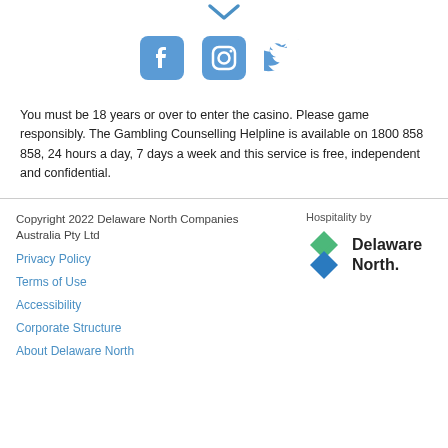[Figure (illustration): Social media icons: Facebook, Instagram, Twitter in blue]
You must be 18 years or over to enter the casino. Please game responsibly. The Gambling Counselling Helpline is available on 1800 858 858, 24 hours a day, 7 days a week and this service is free, independent and confidential.
Copyright 2022 Delaware North Companies Australia Pty Ltd
Privacy Policy
Terms of Use
Accessibility
Corporate Structure
About Delaware North
Hospitality by Delaware North
[Figure (logo): Delaware North logo with green/blue diamond star shape and bold text]